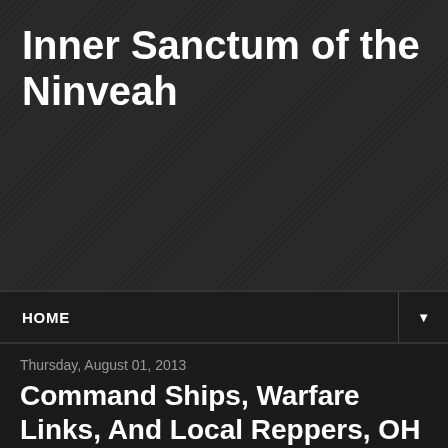Inner Sanctum of the Ninveah
HOME
Thursday, August 01, 2013
Command Ships, Warfare Links, And Local Reppers, OH MY
Three sudden Dev Posts on the forums this morning:
For Odyssey 1.1. we're going to be taking a swing at aspects of our warfare link features, as well as rebalancing command ships. We believe that the package of changes we've put together will be a significant step forward for the game, but it's definitely not the end of iteration on these